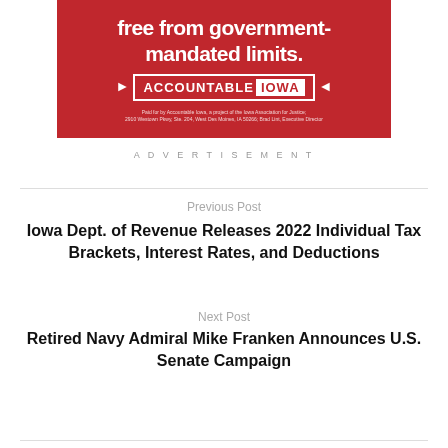[Figure (photo): Accountable Iowa advertisement on red background with text 'free from government-mandated limits.' and Accountable Iowa logo with arrows. Small disclaimer text at bottom reads: Paid for by Accountable Iowa, a project of the Iowa Association for Justice; 2910 Westown Pkwy, Ste. 204, West Des Moines, IA 50266; Brad Lint, Executive Director]
ADVERTISEMENT
Previous Post
Iowa Dept. of Revenue Releases 2022 Individual Tax Brackets, Interest Rates, and Deductions
Next Post
Retired Navy Admiral Mike Franken Announces U.S. Senate Campaign